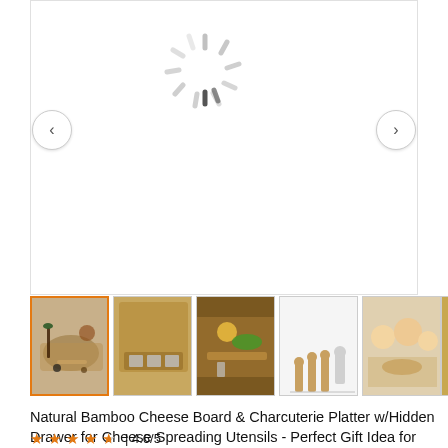[Figure (screenshot): Loading spinner in main product image area of an e-commerce product listing page]
[Figure (photo): Thumbnail 1 (selected): Bamboo cheese board with food items arranged on it - selected with orange border]
[Figure (photo): Thumbnail 2: Bamboo cheese board open showing hidden drawer with utensils]
[Figure (photo): Thumbnail 3: Bamboo cheese board with food/charcuterie arranged on top]
[Figure (photo): Thumbnail 4: Individual cheese utensils/knives on white background]
[Figure (photo): Thumbnail 5: People using the cheese board at a gathering]
[Figure (photo): Thumbnail 6 (partial): Partially visible thumbnail]
Natural Bamboo Cheese Board & Charcuterie Platter w/Hidden Drawer for Cheese Spreading Utensils - Perfect Gift Idea for Birthday, Wedding, Housewarming, Mom - Serves Crackers, Meats, Fruits & Cheese
4.6/5